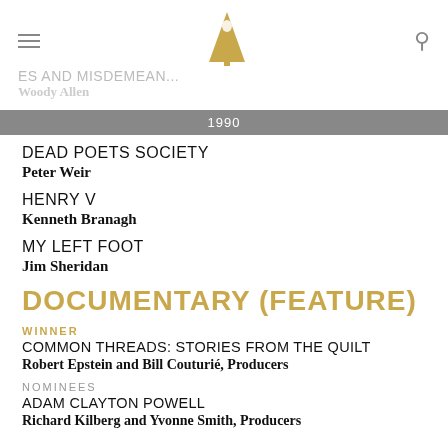CRIMES AND MISDEMEANORS / Woody Allen — Academy Awards 1990
DEAD POETS SOCIETY — Peter Weir
HENRY V — Kenneth Branagh
MY LEFT FOOT — Jim Sheridan
DOCUMENTARY (FEATURE)
WINNER
COMMON THREADS: STORIES FROM THE QUILT
Robert Epstein and Bill Couturié, Producers
NOMINEES
ADAM CLAYTON POWELL
Richard Kilberg and Yvonne Smith, Producers